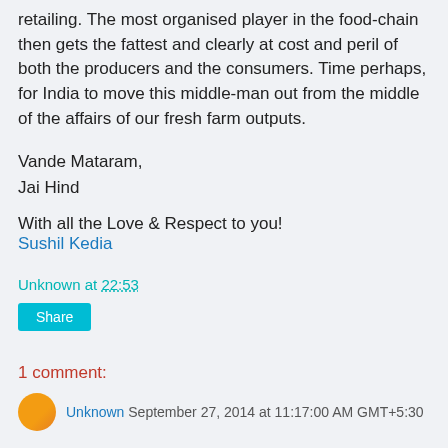retailing. The most organised player in the food-chain then gets the fattest and clearly at cost and peril of both the producers and the consumers. Time perhaps, for India to move this middle-man out from the middle of the affairs of our fresh farm outputs.
Vande Mataram,
Jai Hind
With all the Love & Respect to you!
Sushil Kedia
Unknown at 22:53
Share
1 comment:
Unknown September 27, 2014 at 11:17:00 AM GMT+5:30